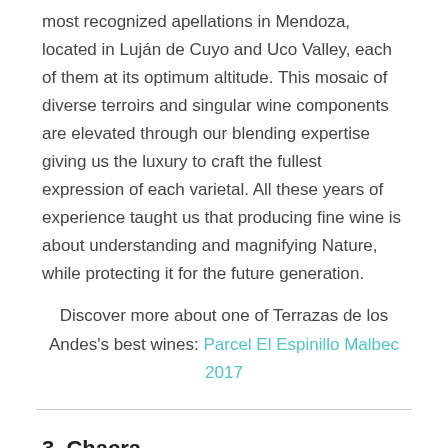most recognized apellations in Mendoza, located in Luján de Cuyo and Uco Valley, each of them at its optimum altitude. This mosaic of diverse terroirs and singular wine components are elevated through our blending expertise giving us the luxury to craft the fullest expression of each varietal. All these years of experience taught us that producing fine wine is about understanding and magnifying Nature, while protecting it for the future generation.
Discover more about one of Terrazas de los Andes's best wines: Parcel El Espinillo Malbec 2017
3. Chacra
Chacra advocates for the highest quality and originality of